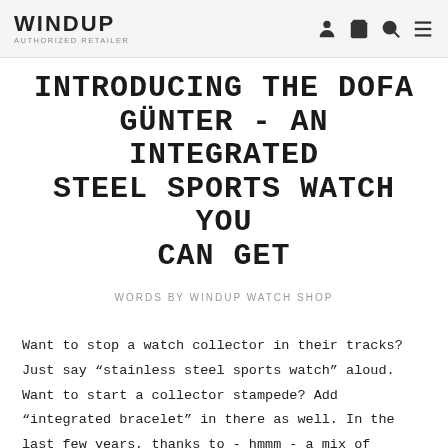WINDUP AUTHORIZED RETAILER
INTRODUCING THE DOFA GÜNTER - AN INTEGRATED STEEL SPORTS WATCH YOU CAN GET
WORDS BY WINDUP WATCH SHOP
Want to stop a watch collector in their tracks? Just say “stainless steel sports watch” aloud. Want to start a collector stampede? Add “integrated bracelet” in there as well. In the last few years, thanks to - hmmm - a mix of strategic “manufacturing shortages” and well implemented